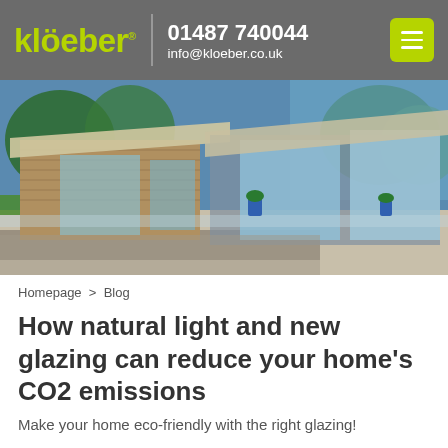klöeber | 01487 740044 | info@kloeber.co.uk
[Figure (photo): Exterior photo of a modern flat-roofed house with extensive glass panels and frameless glazing, surrounded by garden landscaping with green plants and stone paving.]
Homepage > Blog
How natural light and new glazing can reduce your home's CO2 emissions
Make your home eco-friendly with the right glazing!